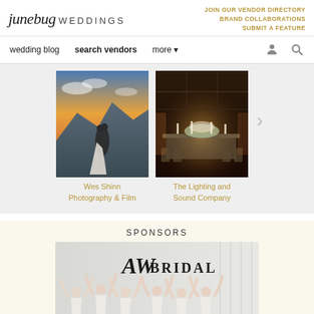junebug WEDDINGS
JOIN OUR VENDOR DIRECTORY
BRAND COLLABORATIONS
SUBMIT A FEATURE
wedding blog   search vendors   more
[Figure (photo): Couple kissing at sunset on a mountain]
Wes Shinn Photography & Film
[Figure (photo): Elegant wedding reception hall with floral table arrangements and warm lighting]
The Lighting and Sound Company
SPONSORS
[Figure (photo): AW Bridal logo with bridesmaids in white dresses raising their arms in celebration outside a white building]